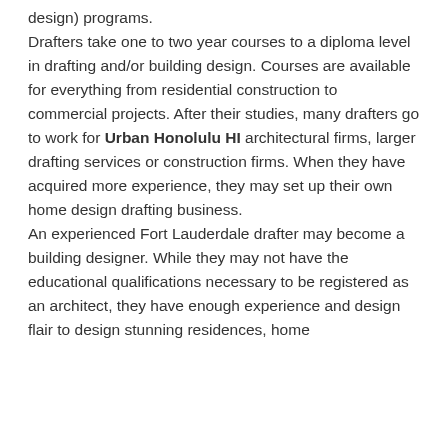design) programs. Drafters take one to two year courses to a diploma level in drafting and/or building design. Courses are available for everything from residential construction to commercial projects. After their studies, many drafters go to work for Urban Honolulu HI architectural firms, larger drafting services or construction firms. When they have acquired more experience, they may set up their own home design drafting business. An experienced Fort Lauderdale drafter may become a building designer. While they may not have the educational qualifications necessary to be registered as an architect, they have enough experience and design flair to design stunning residences, home